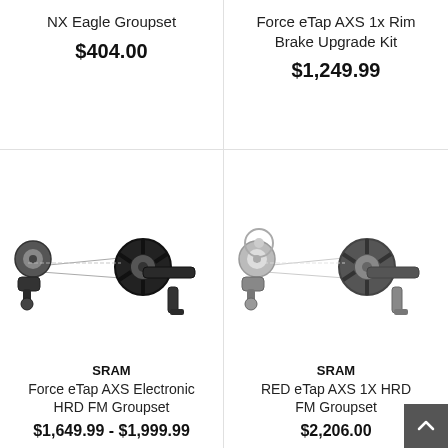NX Eagle Groupset
$404.00
Force eTap AXS 1x Rim Brake Upgrade Kit
$1,249.99
[Figure (photo): SRAM Force eTap AXS Electronic HRD FM Groupset bicycle drivetrain components including chainring, derailleur, and brake lever]
[Figure (photo): SRAM RED eTap AXS 1X HRD FM Groupset bicycle drivetrain components including chainring, derailleur, and brake lever in silver/chrome finish]
SRAM
Force eTap AXS Electronic HRD FM Groupset
$1,649.99 - $1,999.99
SRAM
RED eTap AXS 1X HRD FM Groupset
$2,206.00